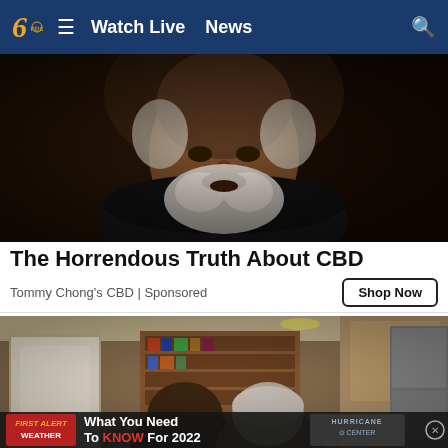Watch Live  News
[Figure (photo): Close-up photo of an older man with a white beard in dim lighting, wearing a black jacket]
The Horrendous Truth About CBD
Tommy Chong's CBD | Sponsored
Shop Now
[Figure (photo): Interior home scene with two people partially visible in a kitchen/living area]
FIRST ALERT WEATHER  What You Need To KNOW For 2022  HURRICANE CENTER